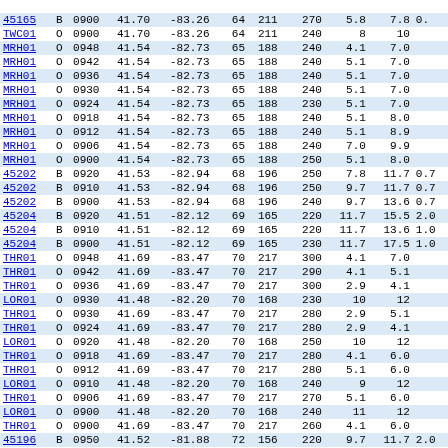| ID | T | Time | Lat | Lon | C1 | C2 | Dir | Spd1 | Spd2 | Extra |
| --- | --- | --- | --- | --- | --- | --- | --- | --- | --- | --- |
| 45165 | B | 0900 | 41.70 | -83.26 | 64 | 211 | 270 | 5.8 | 7.8 | 0. |
| TWC01 | O | 0900 | 41.70 | -83.26 | 64 | 211 | 240 | 8 | 10 |  |
| MRH01 | O | 0948 | 41.54 | -82.73 | 65 | 188 | 240 | 4.1 | 7.0 |  |
| MRH01 | O | 0942 | 41.54 | -82.73 | 65 | 188 | 240 | 5.1 | 7.0 |  |
| MRH01 | O | 0936 | 41.54 | -82.73 | 65 | 188 | 240 | 5.1 | 7.0 |  |
| MRH01 | O | 0930 | 41.54 | -82.73 | 65 | 188 | 240 | 5.1 | 7.0 |  |
| MRH01 | O | 0924 | 41.54 | -82.73 | 65 | 188 | 230 | 5.1 | 7.0 |  |
| MRH01 | O | 0918 | 41.54 | -82.73 | 65 | 188 | 240 | 5.1 | 8.0 |  |
| MRH01 | O | 0912 | 41.54 | -82.73 | 65 | 188 | 240 | 5.1 | 8.9 |  |
| MRH01 | O | 0906 | 41.54 | -82.73 | 65 | 188 | 240 | 7.0 | 9.9 |  |
| MRH01 | O | 0900 | 41.54 | -82.73 | 65 | 188 | 250 | 5.1 | 8.0 |  |
| 45202 | B | 0920 | 41.53 | -82.94 | 68 | 196 | 250 | 7.8 | 11.7 | 0.7 |
| 45202 | B | 0910 | 41.53 | -82.94 | 68 | 196 | 250 | 9.7 | 11.7 | 0.7 |
| 45202 | B | 0900 | 41.53 | -82.94 | 68 | 196 | 240 | 9.7 | 13.6 | 0.7 |
| 45204 | B | 0920 | 41.51 | -82.12 | 69 | 165 | 220 | 11.7 | 15.5 | 2.0 |
| 45204 | B | 0910 | 41.51 | -82.12 | 69 | 165 | 220 | 11.7 | 13.6 | 1.0 |
| 45204 | B | 0900 | 41.51 | -82.12 | 69 | 165 | 230 | 11.7 | 17.5 | 1.0 |
| THR01 | O | 0948 | 41.69 | -83.47 | 70 | 217 | 300 | 4.1 | 7.0 |  |
| THR01 | O | 0942 | 41.69 | -83.47 | 70 | 217 | 290 | 4.1 | 5.1 |  |
| THR01 | O | 0936 | 41.69 | -83.47 | 70 | 217 | 300 | 2.9 | 4.1 |  |
| LOR01 | O | 0930 | 41.48 | -82.20 | 70 | 168 | 230 | 10 | 12 |  |
| THR01 | O | 0930 | 41.69 | -83.47 | 70 | 217 | 280 | 2.9 | 5.1 |  |
| THR01 | O | 0924 | 41.69 | -83.47 | 70 | 217 | 280 | 2.9 | 4.1 |  |
| LOR01 | O | 0920 | 41.48 | -82.20 | 70 | 168 | 250 | 10 | 12 |  |
| THR01 | O | 0918 | 41.69 | -83.47 | 70 | 217 | 280 | 4.1 | 6.0 |  |
| THR01 | O | 0912 | 41.69 | -83.47 | 70 | 217 | 280 | 5.1 | 6.0 |  |
| LOR01 | O | 0910 | 41.48 | -82.20 | 70 | 168 | 240 | 9 | 12 |  |
| THR01 | O | 0906 | 41.69 | -83.47 | 70 | 217 | 270 | 5.1 | 6.0 |  |
| LOR01 | O | 0900 | 41.48 | -82.20 | 70 | 168 | 240 | 11 | 12 |  |
| THR01 | O | 0900 | 41.69 | -83.47 | 70 | 217 | 260 | 4.1 | 6.0 |  |
| 45196 | B | 0950 | 41.52 | -81.88 | 72 | 156 | 220 | 9.7 | 11.7 | 2.0 |
| 45196 | B | 0940 | 41.52 | -81.88 | 72 | 156 | 220 | 9.7 | 13.6 | 2. |